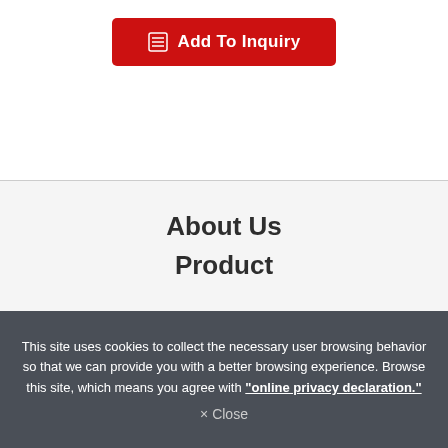[Figure (other): Red 'Add To Inquiry' button with a table/list icon on the left]
About Us
Product
This site uses cookies to collect the necessary user browsing behavior so that we can provide you with a better browsing experience. Browse this site, which means you agree with "online privacy declaration."
× Close